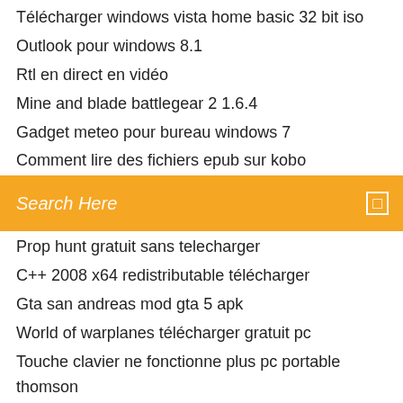Télécharger windows vista home basic 32 bit iso
Outlook pour windows 8.1
Rtl en direct en vidéo
Mine and blade battlegear 2 1.6.4
Gadget meteo pour bureau windows 7
Comment lire des fichiers epub sur kobo
Search Here
Prop hunt gratuit sans telecharger
C++ 2008 x64 redistributable télécharger
Gta san andreas mod gta 5 apk
World of warplanes télécharger gratuit pc
Touche clavier ne fonctionne plus pc portable thomson
Telecharger jeux gratuit pc windows 7
Ok google où suis-je garé
Code de triche débloquer tous les objets sims 4
Diner dash flo on the go gratuit télécharger
Convertisseur epub en azw3
Jeux de voiture rally gratuit